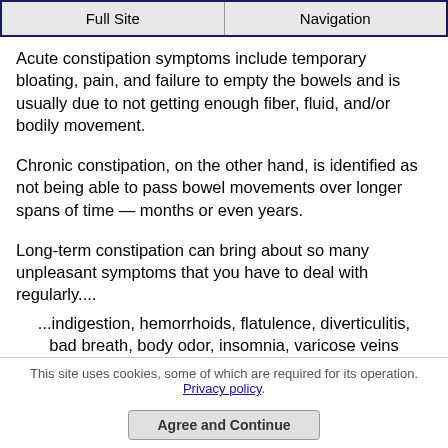Full Site | Navigation
Acute constipation symptoms include temporary bloating, pain, and failure to empty the bowels and is usually due to not getting enough fiber, fluid, and/or bodily movement.
Chronic constipation, on the other hand, is identified as not being able to pass bowel movements over longer spans of time — months or even years.
Long-term constipation can bring about so many unpleasant symptoms that you have to deal with regularly....
...indigestion, hemorrhoids, flatulence, diverticulitis, bad breath, body odor, insomnia, varicose veins and more
This site uses cookies, some of which are required for its operation. Privacy policy. Agree and Continue